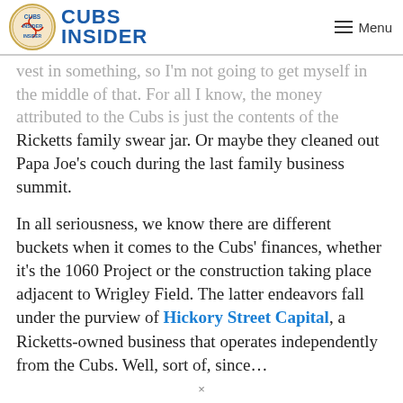Cubs Insider — Menu
vest in something, so I'm not going to get myself in the middle of that. For all I know, the money attributed to the Cubs is just the contents of the Ricketts family swear jar. Or maybe they cleaned out Papa Joe's couch during the last family business summit.
In all seriousness, we know there are different buckets when it comes to the Cubs' finances, whether it's the 1060 Project or the construction taking place adjacent to Wrigley Field. The latter endeavors fall under the purview of Hickory Street Capital, a Ricketts-owned business that operates independently from the Cubs. Well, sort of, since…